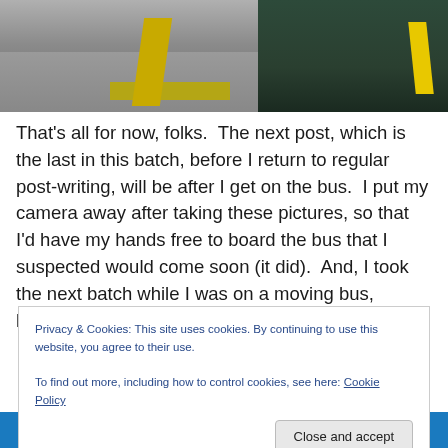[Figure (photo): Street-level photo of a bus stop platform with yellow tactile/warning strip along the edge, and a dark green bus visible on the right side with a yellow vertical stripe.]
That's all for now, folks.  The next post, which is the last in this batch, before I return to regular post-writing, will be after I get on the bus.  I put my camera away after taking these pictures, so that I'd have my hands free to board the bus that I suspected would come soon (it did).  And, I took the next batch while I was on a moving bus, looking out
Privacy & Cookies: This site uses cookies. By continuing to use this website, you agree to their use.
To find out more, including how to control cookies, see here: Cookie Policy
Close and accept
Older posts